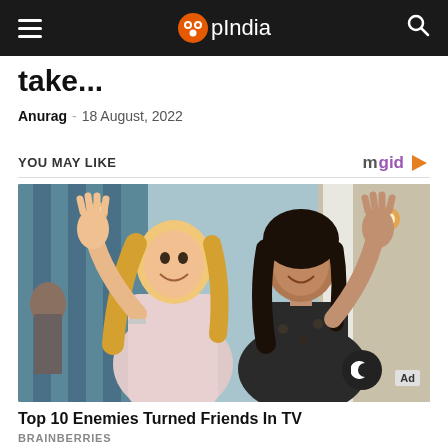OpIndia
take...
Anurag - 18 August, 2022
YOU MAY LIKE
[Figure (photo): Two women smiling and waving at camera in a restaurant setting. One with blonde hair wearing a light pink dress, one with dark hair wearing a black floral top.]
Top 10 Enemies Turned Friends In TV
BRAINBERRIES